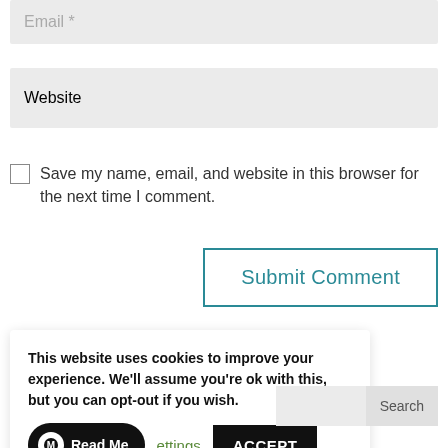Email *
Website
Save my name, email, and website in this browser for the next time I comment.
Submit Comment
This website uses cookies to improve your experience. We'll assume you're ok with this, but you can opt-out if you wish.
Read Me
ettings
ACCEPT
Search